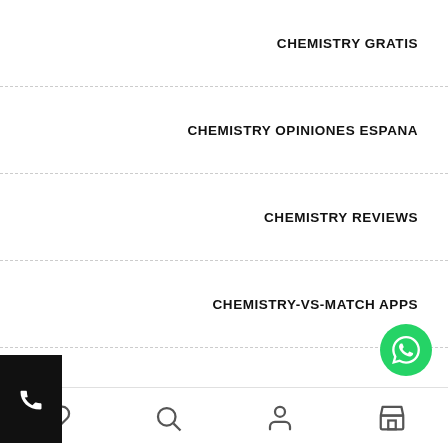CHEMISTRY GRATIS
CHEMISTRY OPINIONES ESPANA
CHEMISTRY REVIEWS
CHEMISTRY-VS-MATCH APPS
CHEMISTRY-VS-MATCH SERVICES
CHICAGO ESCORT
CHICAGO-MEN-DATING REVIEW
CHICO ESCORT
[Figure (other): Phone button on left side]
[Figure (other): WhatsApp floating button]
Bottom navigation bar with heart, search, person, and store icons